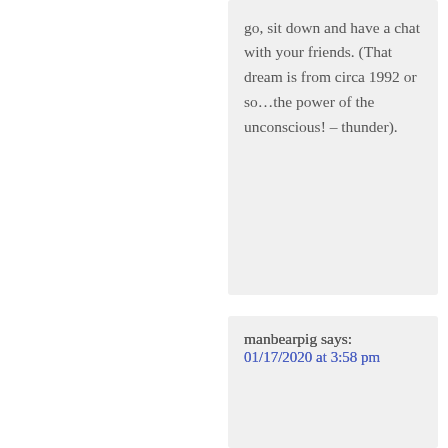go, sit down and have a chat with your friends. (That dream is from circa 1992 or so…the power of the unconscious! – thunder).
manbearpig says:
01/17/2020 at 3:58 pm
awesome dream sequence, felt like I was in it…like flying and serene sunshine…I forgot how much I miss gramma…
and then we jump from Bernaise' sauce into masonic logos
in the collective Corbett subconscious…
wanna pay attention but